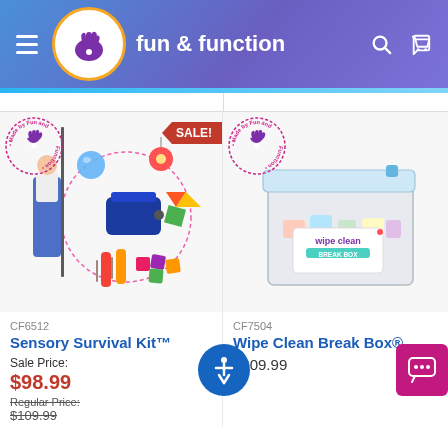fun & function
[Figure (photo): Sensory Survival Kit product image with a girl, blue bag, colorful items inside a dashed circle, Made by Fun and Function badge, SALE! banner]
CF6512
Sensory Survival Kit™
Sale Price:
$98.99
Regular Price:
$109.99
[Figure (photo): Wipe Clean Break Box product image, a clear plastic container with lid, labeled 'wipe clean break box', pastel items inside, Made by Fun and Function badge]
CF7504
Wipe Clean Break Box®
$309.99